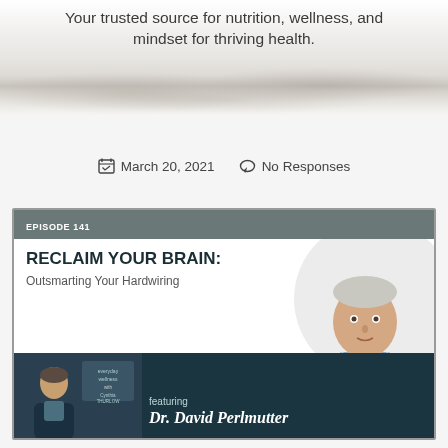Your trusted source for nutrition, wellness, and mindset for thriving health.
March 20, 2021   No Responses
[Figure (screenshot): Podcast episode card for Episode 141: RECLAIM YOUR BRAIN: Outsmarting Your Hardwiring, featuring Dr. David Perlmutter. Shows host thumbnail on the left, episode title text, and a photo of Dr. Perlmutter on the right.]